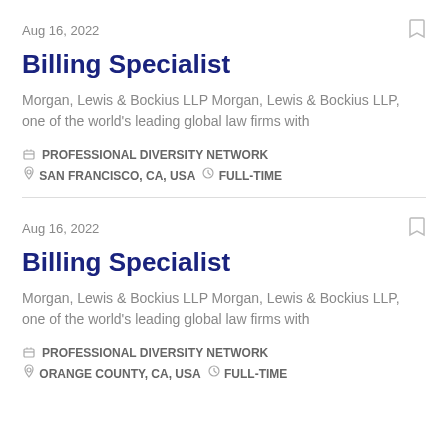Aug 16, 2022
Billing Specialist
Morgan, Lewis & Bockius LLP Morgan, Lewis & Bockius LLP, one of the world's leading global law firms with
PROFESSIONAL DIVERSITY NETWORK
SAN FRANCISCO, CA, USA   FULL-TIME
Aug 16, 2022
Billing Specialist
Morgan, Lewis & Bockius LLP Morgan, Lewis & Bockius LLP, one of the world's leading global law firms with
PROFESSIONAL DIVERSITY NETWORK
ORANGE COUNTY, CA, USA   FULL-TIME